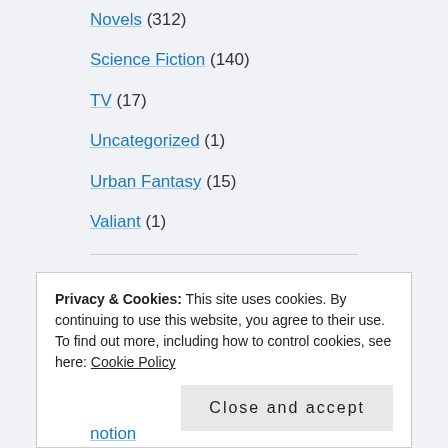Novels (312)
Science Fiction (140)
TV (17)
Uncategorized (1)
Urban Fantasy (15)
Valiant (1)
LINKS
Privacy & Cookies: This site uses cookies. By continuing to use this website, you agree to their use. To find out more, including how to control cookies, see here: Cookie Policy Close and accept
notion